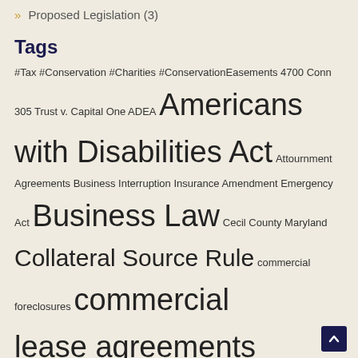» Proposed Legislation (3)
Tags
#Tax #Conservation #Charities #ConservationEasements 4700 Conn 305 Trust v. Capital One ADEA Americans with Disabilities Act Attournment Agreements Business Interruption Insurance Amendment Emergency Act Business Law Cecil County Maryland Collateral Source Rule commercial foreclosures commercial lease agreements commercial leasing Commercial Tenant's Lease Coronavirus Omnibus Emergency Amendment Act of 2020 Criminal Procedure discretionary function Dominion Resources Inc. v. Alstom Power Inc. double recovery Economic Impact Payments Executive Order Number 20-03-30-04 Executive Order Number 20-04-10-01 Governor Newsom health questionnaires IRS Notice 2018-76 Lawrence R. Carver Jr. v. RBS Citizens N.A. Maryland Real Estate Commission Maryland Real Estate